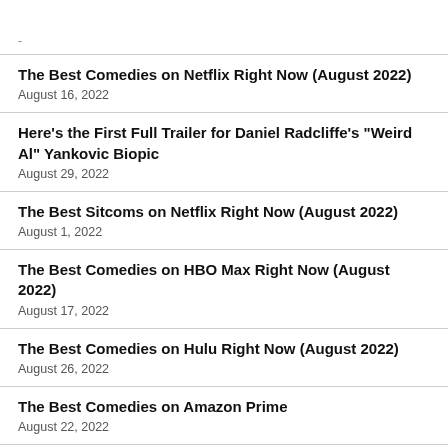The Best Comedies on Netflix Right Now (August 2022)
August 16, 2022
Here's the First Full Trailer for Daniel Radcliffe's "Weird Al" Yankovic Biopic
August 29, 2022
The Best Sitcoms on Netflix Right Now (August 2022)
August 1, 2022
The Best Comedies on HBO Max Right Now (August 2022)
August 17, 2022
The Best Comedies on Hulu Right Now (August 2022)
August 26, 2022
The Best Comedies on Amazon Prime
August 22, 2022
Me Amor Turns His Life Story into the Humane, Funny